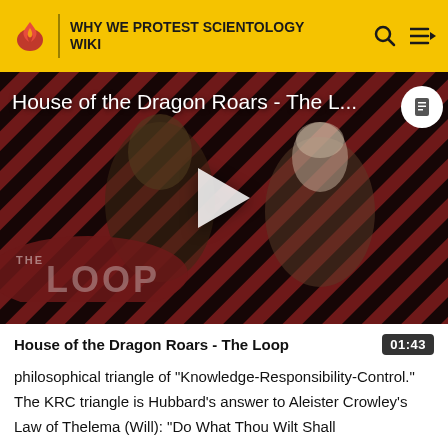WHY WE PROTEST SCIENTOLOGY WIKI
[Figure (screenshot): Video thumbnail for 'House of the Dragon Roars - The L...' showing two characters from a TV show with a diagonal stripe background. A large play button triangle is visible in the center. The Loop logo badge appears in the lower left. A circular note icon appears in the upper right.]
House of the Dragon Roars - The Loop
philosophical triangle of "Knowledge-Responsibility-Control." The KRC triangle is Hubbard's answer to Aleister Crowley's Law of Thelema (Will): "Do What Thou Wilt Shall